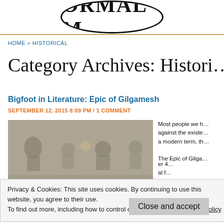ORMAL M (partial logo/header)
HOME » HISTORICAL
Category Archives: Historic…
Bigfoot in Literature: Epic of Gilgamesh
SEPTEMBER 12, 2015 8:09 PM / 1 COMMENT
[Figure (photo): Ancient relief carving showing figures, appears to be a Mesopotamian bas-relief]
Most people we h… against the existe… a modern term, th…
The Epic of Gilga… er 4… al f… one ov… la…
Privacy & Cookies: This site uses cookies. By continuing to use this website, you agree to their use.
To find out more, including how to control cookies, see here: Cookie Policy
Close and accept